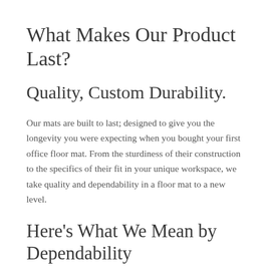What Makes Our Product Last?
Quality, Custom Durability.
Our mats are built to last; designed to give you the longevity you were expecting when you bought your first office floor mat. From the sturdiness of their construction to the specifics of their fit in your unique workspace, we take quality and dependability in a floor mat to a new level.
Here's What We Mean by Dependability